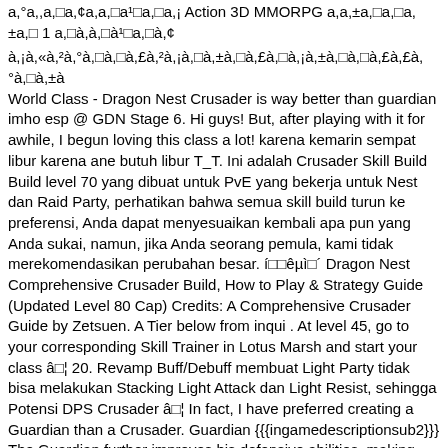a,°a,,a,□a,¢a,a,□a¹□a,□a,¡ Action 3D MMORPG a,a,±a,□a,□a,±a,□ 1 a,□a,à,□à¹□a,□à,¢
à,¡à,«à,²à,°à,□à,□à,£à,²à,¡à,□à,±à,□à,£à,□à,¡à,±à,□à,□à,£à,£à,°à,□à,±à World Class - Dragon Nest Crusader is way better than guardian imho esp @ GDN Stage 6. Hi guys! But, after playing with it for awhile, I begun loving this class a lot! karena kemarin sempat libur karena ane butuh libur T_T. Ini adalah Crusader Skill Build Build level 70 yang dibuat untuk PvE yang bekerja untuk Nest dan Raid Party, perhatikan bahwa semua skill build turun ke preferensi, Anda dapat menyesuaikan kembali apa pun yang Anda sukai, namun, jika Anda seorang pemula, kami tidak merekomendasikan perubahan besar. í□□êµì□´ Dragon Nest Comprehensive Crusader Build, How to Play & Strategy Guide (Updated Level 80 Cap) Credits: A Comprehensive Crusader Guide by Zetsuen. A Tier below from inqui . At level 45, go to your corresponding Skill Trainer in Lotus Marsh and start your class â□¦ 20. Revamp Buff/Debuff membuat Light Party tidak bisa melakukan Stacking Light Attack dan Light Resist, sehingga Potensi DPS Crusader â□¦ In fact, I have preferred creating a Guardian than a Crusader. Guardian {{{ingamedescriptionsub2}}} The Guardian further improves his defensive abilities, making him the ultimate tank. Oh . In fact, I have preferred creating a Guardian than a Crusader. Dragon Nest - Cleric Build / Guia / Skill Build. Crusader Focus . Beranda; Facebook; Twitter; Kamis, 15 Agustus 2013. Sesuai permintaan yang saya dapat, Dipesan pribadi FP Koran Notears